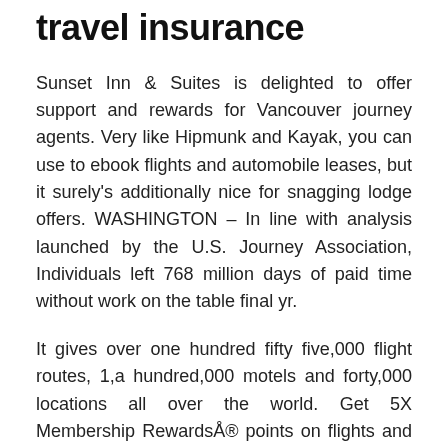travel insurance
Sunset Inn & Suites is delighted to offer support and rewards for Vancouver journey agents. Very like Hipmunk and Kayak, you can use to ebook flights and automobile leases, but it surely's additionally nice for snagging lodge offers. WASHINGTON – In line with analysis launched by the U.S. Journey Association, Individuals left 768 million days of paid time without work on the table final yr.
It gives over one hundred fifty five,000 flight routes, 1,a hundred,000 motels and forty,000 locations all over the world. Get 5X Membership Rewards® points on flights and eligible accommodations. Explore our latest presents and discover nice new causes to journey,